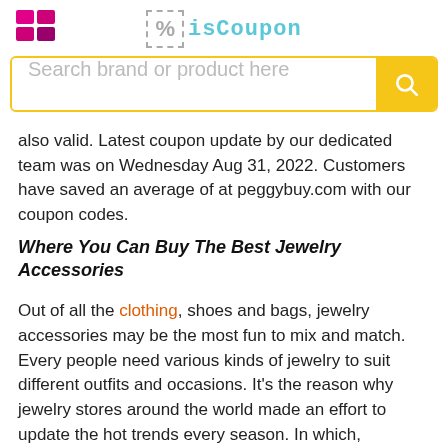[Figure (logo): isCoupon website logo with pink/magenta grid icon on the left and percent symbol in dashed box with isCoupon text in teal]
[Figure (screenshot): Search bar with placeholder 'Search brand or product here' and yellow search button]
also valid. Latest coupon update by our dedicated team was on Wednesday Aug 31, 2022. Customers have saved an average of at peggybuy.com with our coupon codes.
Where You Can Buy The Best Jewelry Accessories
Out of all the clothing, shoes and bags, jewelry accessories may be the most fun to mix and match. Every people need various kinds of jewelry to suit different outfits and occasions. It's the reason why jewelry stores around the world made an effort to update the hot trends every season. In which, customers' demand and budget will be a crucial factor that all of them move towards. Understanding this, isCoupon has a concerted effort to Peggybuy, one of the noted jewelry store